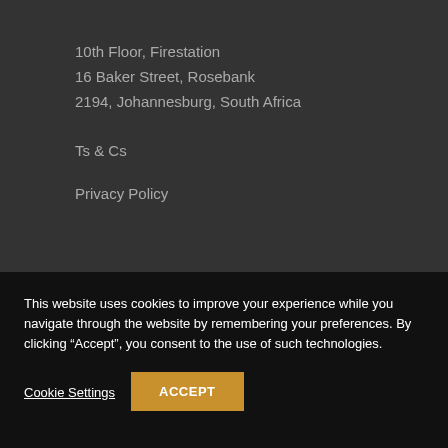10th Floor, Firestation
16 Baker Street, Rosebank
2194, Johannesburg, South Africa
Ts & Cs
Privacy Policy
This website uses cookies to improve your experience while you navigate through the website by remembering your preferences. By clicking “Accept”, you consent to the use of such technologies.
Cookie Settings
ACCEPT